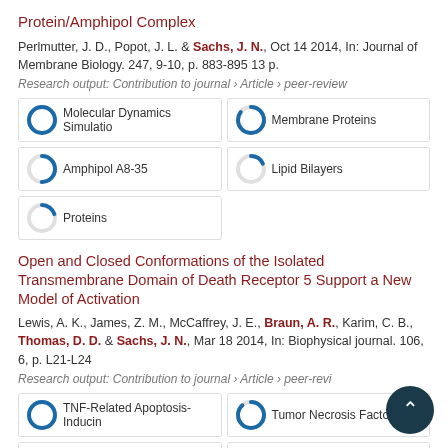Protein/Amphipol Complex
Perlmutter, J. D., Popot, J. L. & Sachs, J. N., Oct 14 2014, In: Journal of Membrane Biology. 247, 9-10, p. 883-895 13 p.
Research output: Contribution to journal › Article › peer-review
[Figure (infographic): Badge showing 100% for Molecular Dynamics Simulatio]
[Figure (infographic): Badge showing ~85% for Membrane Proteins]
[Figure (infographic): Badge showing ~50% for Amphipol A8-35]
[Figure (infographic): Badge showing ~18% for Lipid Bilayers]
[Figure (infographic): Badge showing ~20% for Proteins]
Open and Closed Conformations of the Isolated Transmembrane Domain of Death Receptor 5 Support a New Model of Activation
Lewis, A. K., James, Z. M., McCaffrey, J. E., Braun, A. R., Karim, C. B., Thomas, D. D. & Sachs, J. N., Mar 18 2014, In: Biophysical journal. 106, 6, p. L21-L24
Research output: Contribution to journal › Article › peer-review
[Figure (infographic): Badge showing 100% for TNF-Related Apoptosis-Inducin]
[Figure (infographic): Badge showing ~88% for Tumor Necrosis Factor]
[Figure (infographic): Badge showing ~55% for Ligands]
[Figure (infographic): Badge showing ~50% for Electron Spin Resonance Spect]